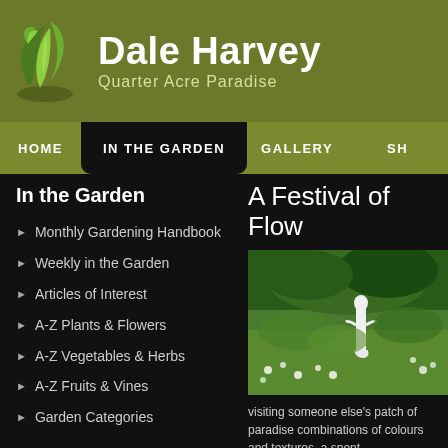Dale Harvey — Quarter Acre Paradise
HOME | IN THE GARDEN | GALLERY | SH
In the Garden
Monthly Gardening Handbook
Weekly in the Garden
Articles of Interest
A-Z Plants & Flowers
A-Z Vegetables & Herbs
A-Z Fruits & Vines
Garden Categories
A Festival of Flow
[Figure (photo): Garden photo with white statue among lush green plants and trees]
visiting someone else's patch of paradise combinations of colours and textures, a spent.
The Trinity Garden Festival held in Au